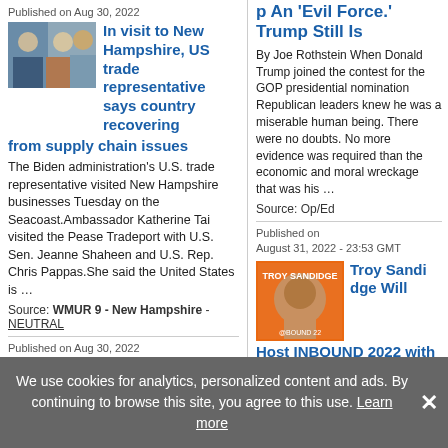Published on Aug 30, 2022
[Figure (photo): Photo of people at a meeting]
In visit to New Hampshire, US trade representative says country recovering from supply chain issues
The Biden administration's U.S. trade representative visited New Hampshire businesses Tuesday on the Seacoast.Ambassador Katherine Tai visited the Pease Tradeport with U.S. Sen. Jeanne Shaheen and U.S. Rep. Chris Pappas.She said the United States is …
Source: WMUR 9 - New Hampshire - NEUTRAL
Published on Aug 30, 2022
[Figure (photo): Photo of a veteran saluting with flags]
Opinion: Combating veteran suicide in NH
Frank Larkin is COO of the Troops First Foundation and chair of the Warrior Call initiative. New Hampshire-based veterans and service members disconnected from peers, friends, family and community are more …
p An 'Evil Force.' Trump Still Is
By Joe Rothstein When Donald Trump joined the contest for the GOP presidential nomination Republican leaders knew he was a miserable human being. There were no doubts. No more evidence was required than the economic and moral wreckage that was his …
Source: Op/Ed
Published on
August 31, 2022 - 23:53 GMT
[Figure (photo): Troy Sandidge promotional graphic with orange background]
Troy Sandidge Will Host INBOUND 2022 with Featured Speakers Including
We use cookies for analytics, personalized content and ads. By continuing to browse this site, you agree to this use. Learn more